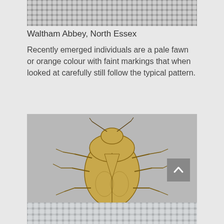[Figure (photo): Close-up photo of a woven fabric or mesh texture, grey/silver colored, shown at the top of the page]
Waltham Abbey, North Essex
Recently emerged individuals are a pale fawn or orange colour with faint markings that when looked at carefully still follow the typical pattern.
[Figure (illustration): Illustration of a pale fawn/yellow-orange bug (beetle/shield bug) viewed from above, showing legs, antennae, and body markings on a grey background]
[Figure (photo): Close-up photo of a woven fabric or mesh texture, grey/white colored, shown at the bottom of the page, partially cropped]